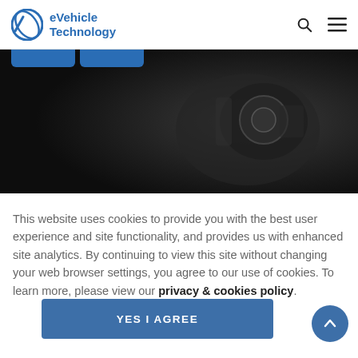eVehicle Technology
[Figure (photo): Dark background photo of an electric drive system/motor components for the Xpeng P7 sedan]
Xpeng Motors reveals high-performance electric drive system for P7 sedan
This website uses cookies to provide you with the best user experience and site functionality, and provides us with enhanced site analytics. By continuing to view this site without changing your web browser settings, you agree to our use of cookies. To learn more, please view our privacy & cookies policy.